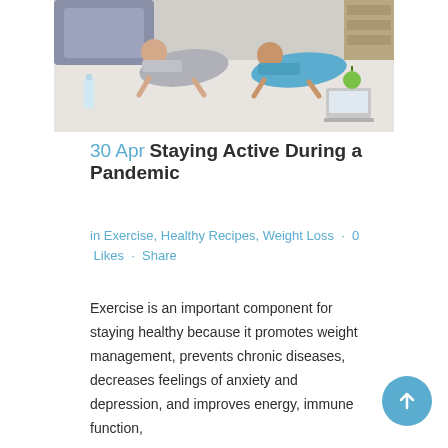[Figure (photo): Two people doing plank exercises on a floor indoors, with a water bottle, apple, and laptop visible nearby.]
30 Apr Staying Active During a Pandemic
in Exercise, Healthy Recipes, Weight Loss · 0 Likes · Share
Exercise is an important component for staying healthy because it promotes weight management, prevents chronic diseases, decreases feelings of anxiety and depression, and improves energy, immune function,